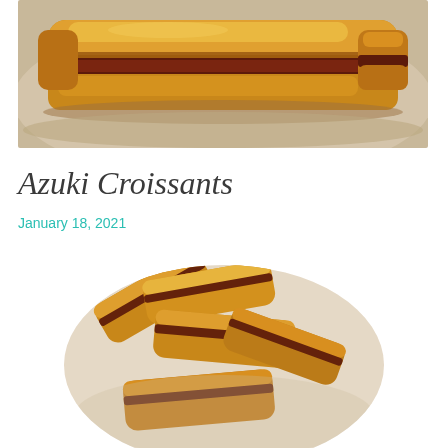[Figure (photo): Close-up photo of azuki croissants on a plate, showing flaky pastry with red bean filling visible between layers]
Azuki Croissants
January 18, 2021
[Figure (photo): Circular cropped overhead photo of multiple azuki croissants arranged on a white plate, showing golden flaky pastry with dark red bean filling]